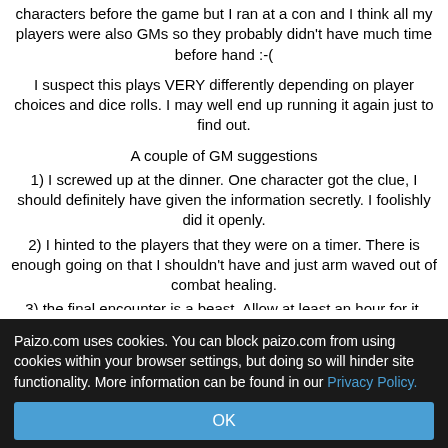characters before the game but I ran at a con and I think all my players were also GMs so they probably didn't have much time before hand :-(
I suspect this plays VERY differently depending on player choices and dice rolls. I may well end up running it again just to find out.
A couple of GM suggestions
1) I screwed up at the dinner. One character got the clue, I should definitely have given the information secretly. I foolishly did it openly.
2) I hinted to the players that they were on a timer. There is enough going on that I shouldn't have and just arm waved out of combat healing.
3) the final encounter is a beast. Allow at least an hour for it.
Paizo.com uses cookies. You can block paizo.com from using cookies within your browser settings, but doing so will hinder site functionality. More information can be found in our Privacy Policy.